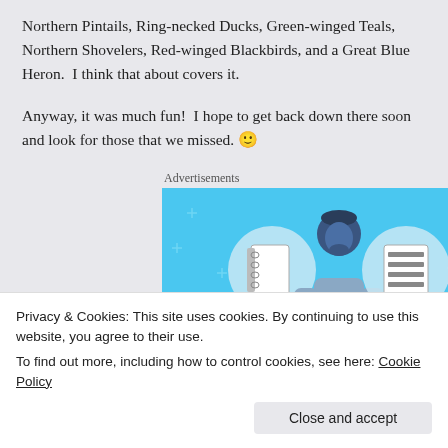Northern Pintails, Ring-necked Ducks, Green-winged Teals, Northern Shovelers, Red-winged Blackbirds, and a Great Blue Heron.  I think that about covers it.
Anyway, it was much fun!  I hope to get back down there soon and look for those that we missed. 🙂
Advertisements
[Figure (illustration): Day One app advertisement banner with blue background showing a person holding a phone flanked by two circular icons of notebooks/lists, with text DAY ONE below]
Privacy & Cookies: This site uses cookies. By continuing to use this website, you agree to their use.
To find out more, including how to control cookies, see here: Cookie Policy
Close and accept